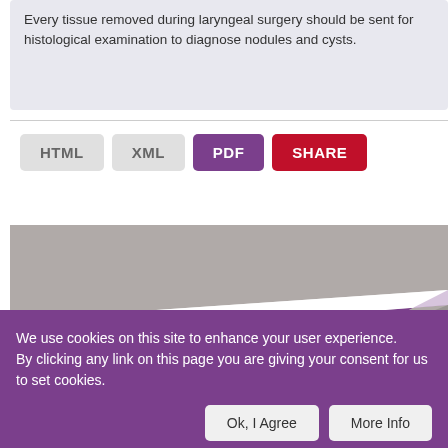Every tissue removed during laryngeal surgery should be sent for histological examination to diagnose nodules and cysts.
[Figure (illustration): Website UI buttons row showing HTML, XML, PDF, and SHARE buttons. PDF button is purple, SHARE button is red, HTML and XML are grey.]
[Figure (illustration): Decorative banner graphic with grey and purple angular shapes on a grey background.]
We use cookies on this site to enhance your user experience. By clicking any link on this page you are giving your consent for us to set cookies.
[Figure (screenshot): Cookie consent bar with Ok, I Agree and More Info buttons]